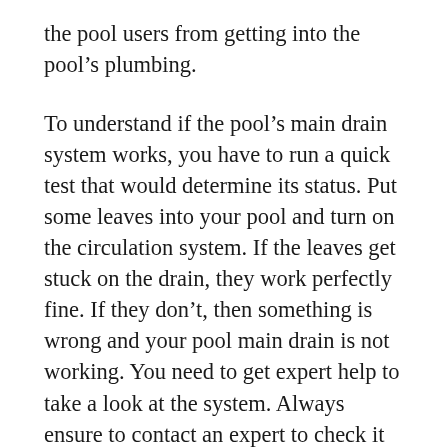the pool users from getting into the pool's plumbing.
To understand if the pool's main drain system works, you have to run a quick test that would determine its status. Put some leaves into your pool and turn on the circulation system. If the leaves get stuck on the drain, they work perfectly fine. If they don't, then something is wrong and your pool main drain is not working. You need to get expert help to take a look at the system. Always ensure to contact an expert to check it out for you for the safety of your pool.
Now if the main drain stops functioning due to a blockage on one of its drain, you can resolve this